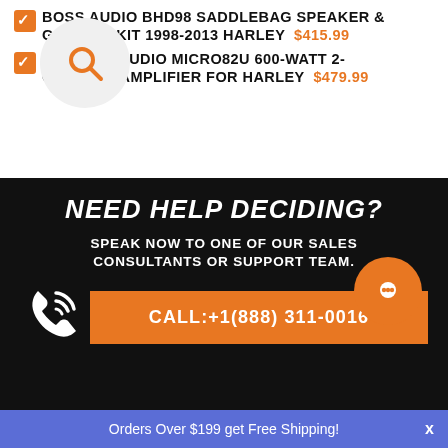BOSS AUDIO BHD98 SADDLEBAG SPEAKER & GRILLE KIT 1998-2013 HARLEY $415.99
DIAMOND AUDIO MICRO82U 600-WATT 2-CHANNEL AMPLIFIER FOR HARLEY $479.99
NEED HELP DECIDING?
SPEAK NOW TO ONE OF OUR SALES CONSULTANTS OR SUPPORT TEAM.
CALL:+1(888) 311-0016
Orders Over $199 get Free Shipping!